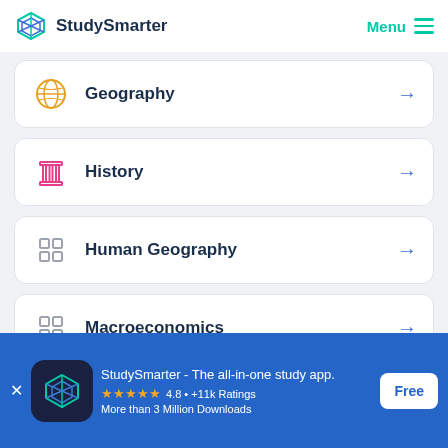StudySmarter  Menu
Geography
History
Human Geography
Macroeconomics
StudySmarter - The all-in-one study app. 4.8 • +11k Ratings More than 3 Million Downloads Free